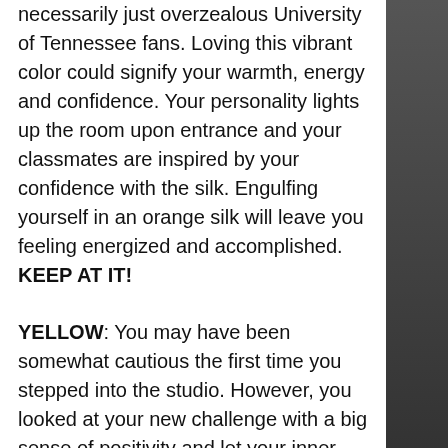necessarily just overzealous University of Tennessee fans. Loving this vibrant color could signify your warmth, energy and confidence. Your personality lights up the room upon entrance and your classmates are inspired by your confidence with the silk. Engulfing yourself in an orange silk will leave you feeling energized and accomplished. KEEP AT IT!
YELLOW: You may have been somewhat cautious the first time you stepped into the studio. However, you looked at your new challenge with a big sense of positivity and let your inner optimist take over. If you're into yellow performing, learning and improving gives you a sense of happiness and clarity. You're